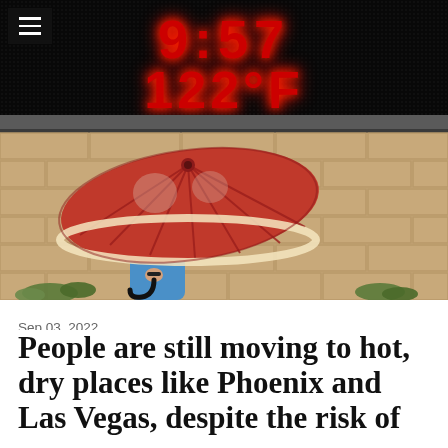[Figure (photo): A person holding a large red decorative umbrella stands in front of a beige stone/brick wall with small plants at the base. Above the wall is a large black LED sign displaying '9:57 122°F' in red dot-matrix letters. A hamburger menu icon is visible in the top-left corner.]
Sep 03, 2022
People are still moving to hot, dry places like Phoenix and Las Vegas, despite the risk of